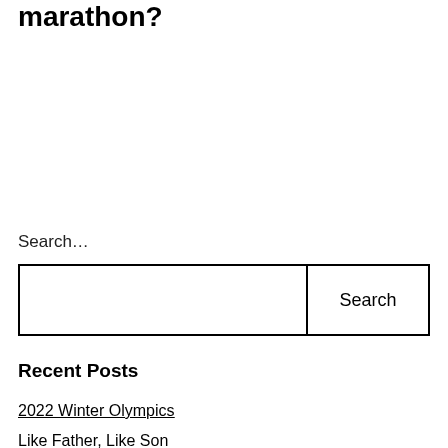marathon?
Search…
Search
Recent Posts
2022 Winter Olympics
Like Father, Like Son